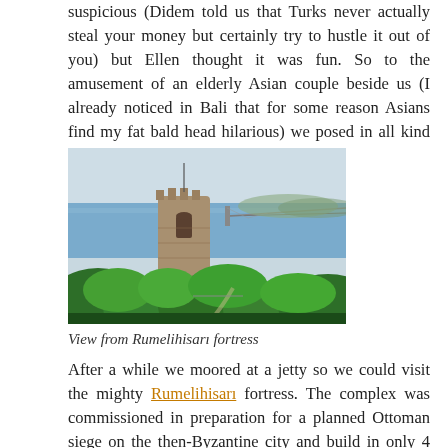suspicious (Didem told us that Turks never actually steal your money but certainly try to hustle it out of you) but Ellen thought it was fun. So to the amusement of an elderly Asian couple beside us (I already noticed in Bali that for some reason Asians find my fat bald head hilarious) we posed in all kind of manners.
[Figure (photo): Photo of a stone fortress tower surrounded by green vegetation with a body of water and a bridge visible in the background, taken from Rumelihisarı fortress.]
View from Rumelihisarı fortress
After a while we moored at a jetty so we could visit the mighty Rumelihisarı fortress. The complex was commissioned in preparation for a planned Ottoman siege on the then-Byzantine city and build in only 4 months and 16 days. All by all it was nice to see and after some climbing the views were very good but to me it was not really noteworthy. Back in the boat the photographer approached us again